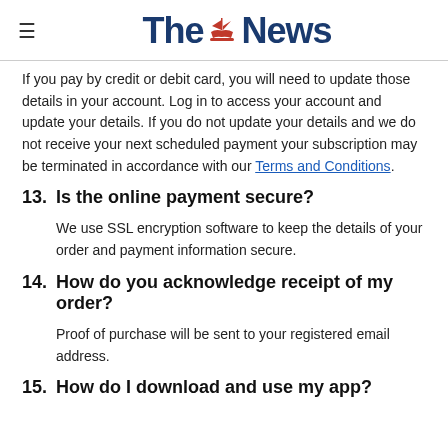The News
If you pay by credit or debit card, you will need to update those details in your account. Log in to access your account and update your details. If you do not update your details and we do not receive your next scheduled payment your subscription may be terminated in accordance with our Terms and Conditions.
13. Is the online payment secure?
We use SSL encryption software to keep the details of your order and payment information secure.
14. How do you acknowledge receipt of my order?
Proof of purchase will be sent to your registered email address.
15. How do I download and use my app?